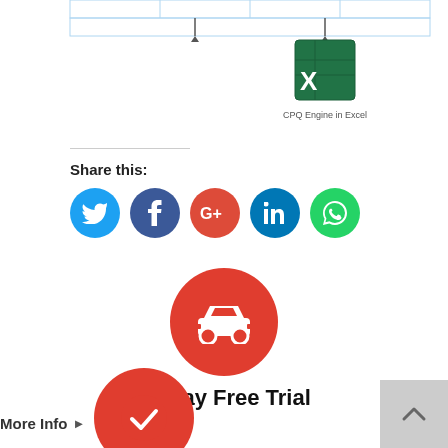[Figure (screenshot): Top portion of a flowchart diagram showing an Excel icon labeled 'CPQ Engine in Excel' with connecting arrows above]
Share this:
[Figure (infographic): Row of five social media circular icon buttons: Twitter (blue), Facebook (dark blue), Google+ (red), LinkedIn (dark blue), WhatsApp (green)]
[Figure (infographic): Red circle with white car icon representing a 60-day Free Trial offer]
60-day Free Trial
More Info ▶
[Figure (infographic): Red circle with white checkmark icon, partially visible at bottom of page]